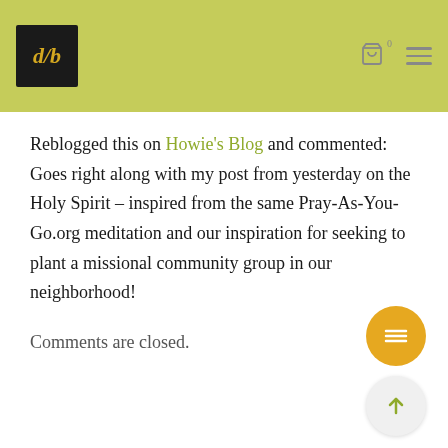Logo and navigation header with cart icon and menu
Reblogged this on Howie's Blog and commented: Goes right along with my post from yesterday on the Holy Spirit – inspired from the same Pray-As-You-Go.org meditation and our inspiration for seeking to plant a missional community group in our neighborhood!
Comments are closed.